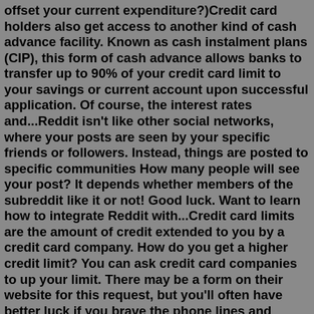offset your current expenditure?)Credit card holders also get access to another kind of cash advance facility. Known as cash instalment plans (CIP), this form of cash advance allows banks to transfer up to 90% of your credit card limit to your savings or current account upon successful application. Of course, the interest rates and...Reddit isn't like other social networks, where your posts are seen by your specific friends or followers. Instead, things are posted to specific communities How many people will see your post? It depends whether members of the subreddit like it or not! Good luck. Want to learn how to integrate Reddit with...Credit card limits are the amount of credit extended to you by a credit card company. How do you get a higher credit limit? You can ask credit card companies to up your limit. There may be a form on their website for this request, but you'll often have better luck if you brave the phone lines and speak...Big Reddit user? Prefer old Reddit to the new Reddit design? No problem - you can still access old Reddit, you just have to know how... Users